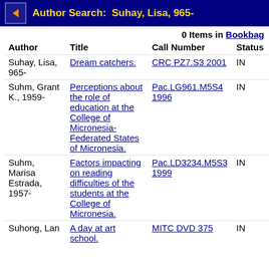Author Search: Suhay, Lisa, 965-
0 Items in Bookbag
| Author | Title | Call Number | Status |
| --- | --- | --- | --- |
| Suhay, Lisa, 965- | Dream catchers. | CRC PZ7.S3 2001 | IN |
| Suhm, Grant K., 1959- | Perceptions about the role of education at the College of Micronesia-Federated States of Micronesia. | Pac.LG961.M5S4 1996 | IN |
| Suhm, Marisa Estrada, 1957- | Factors impacting on reading difficulties of the students at the College of Micronesia. | Pac.LD3234.M5S3 1999 | IN |
| Suhong, Lan | A day at art school. | MITC DVD 375 | IN |